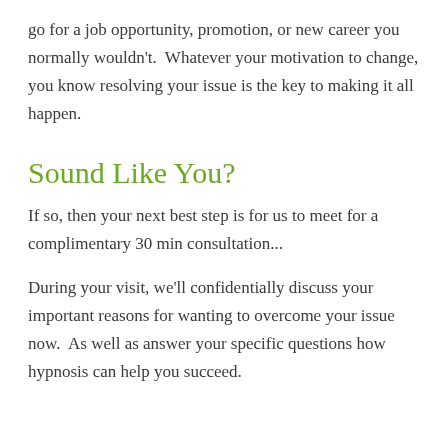go for a job opportunity, promotion, or new career you normally wouldn't.  Whatever your motivation to change, you know resolving your issue is the key to making it all happen.
Sound Like You?
If so, then your next best step is for us to meet for a complimentary 30 min consultation...
During your visit, we'll confidentially discuss your important reasons for wanting to overcome your issue now.  As well as answer your specific questions how hypnosis can help you succeed.